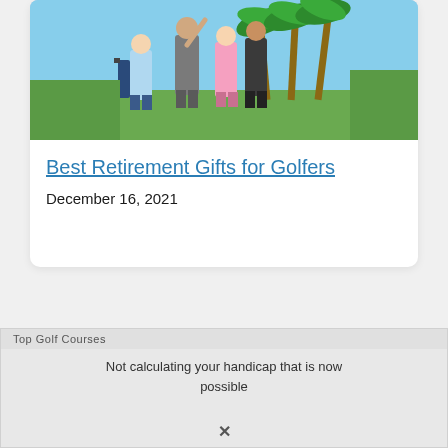[Figure (photo): Photo of golfers on a golf course with palm trees and blue sky, showing elderly people with golf bags]
Best Retirement Gifts for Golfers
December 16, 2021
[Figure (screenshot): Partial ad banner with header 'Top Golf Courses' and text 'Not calculating your handicap that is now possible']